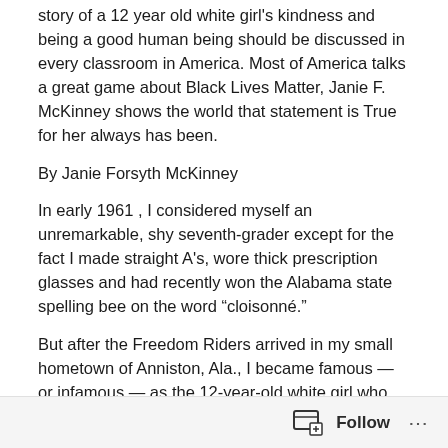story of a 12 year old white girl's kindness and being a good human being should be discussed in every classroom in America. Most of America talks a great game about Black Lives Matter, Janie F. McKinney shows the world that statement is True for her always has been.
By Janie Forsyth McKinney
In early 1961 , I considered myself an unremarkable, shy seventh-grader except for the fact I made straight A's, wore thick prescription glasses and had recently won the Alabama state spelling bee on the word “cloisonné.”
But after the Freedom Riders arrived in my small hometown of Anniston, Ala., I became famous — or infamous — as the 12-year-old white girl who defied the
Follow ...